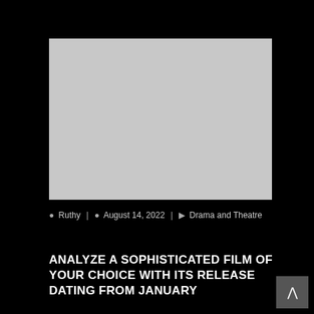[Figure (photo): Placeholder image with light gray background, no visible content]
Ruthy | August 14, 2022 | Drama and Theatre
ANALYZE A SOPHISTICATED FILM OF YOUR CHOICE WITH ITS RELEASE DATING FROM JANUARY